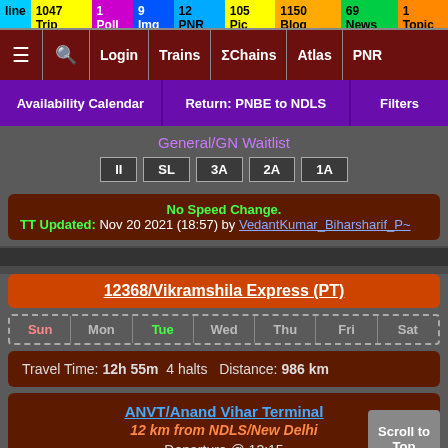line 1047 Trip | 1 Poll | 9 Img | 12 PNR | 105 Pic | 1150 Blog | 69 News | 1 Topic
≡  🔍  Login  Trains  ΣChains  Atlas  PNR
Availability Calendar | Return: PNBE to NDLS | Filters
General/GN Waitlist
II  SL  3A  2A  1A
No Speed Change. TT Updated: Nov 20 2021 (18:57) by VedantKumar_Biharsharif_P~
12368/Vikramshila Express (PT)
Sun  Mon  Tue  Wed  Thu  Fri  Sat
Travel Time: 12h 55m  4 halts  Distance: 986 km
ANVT/Anand Vihar Terminal
12 km from NDLS/New Delhi
Departure @ 13:15